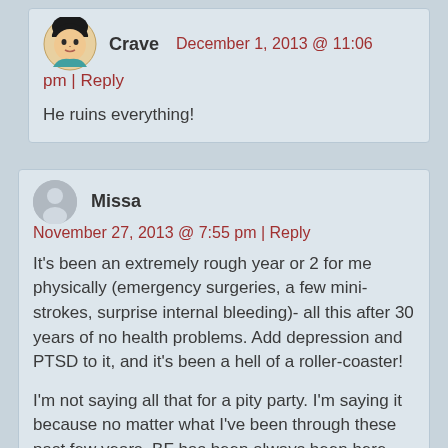Crave   December 1, 2013 @ 11:06 pm | Reply
He ruins everything!
Missa   November 27, 2013 @ 7:55 pm | Reply
It's been an extremely rough year or 2 for me physically (emergency surgeries, a few mini-strokes, surprise internal bleeding)- all this after 30 years of no health problems. Add depression and PTSD to it, and it's been a hell of a roller-coaster!
I'm not saying all that for a pity party. I'm saying it because no matter what I've been through these past few years, BF has been always been here. There's always a happy moment, a